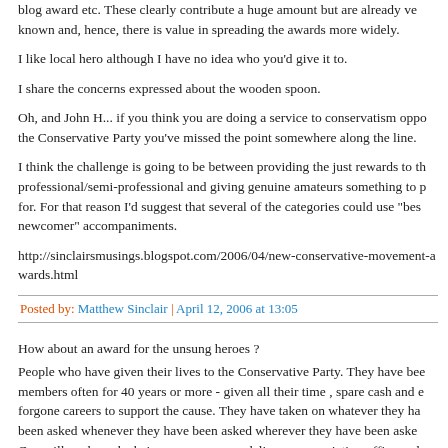blog award etc. These clearly contribute a huge amount but are already very well known and, hence, there is value in spreading the awards more widely.
I like local hero although I have no idea who you'd give it to.
I share the concerns expressed about the wooden spoon.
Oh, and John H... if you think you are doing a service to conservatism opposing the Conservative Party you've missed the point somewhere along the line.
I think the challenge is going to be between providing the just rewards to the professional/semi-professional and giving genuine amateurs something to play for. For that reason I'd suggest that several of the categories could use "best newcomer" accompaniments.
http://sinclairsmusings.blogspot.com/2006/04/new-conservative-movement-awards.html
Posted by: Matthew Sinclair | April 12, 2006 at 13:05
How about an award for the unsung heroes ?
People who have given their lives to the Conservative Party. They have been members often for 40 years or more - given all their time , spare cash and even forgone careers to support the cause. They have taken on whatever they have been asked whenever they have been asked wherever they have been asked. Councillors, branch chairmen, canvassers deliverers association officers all